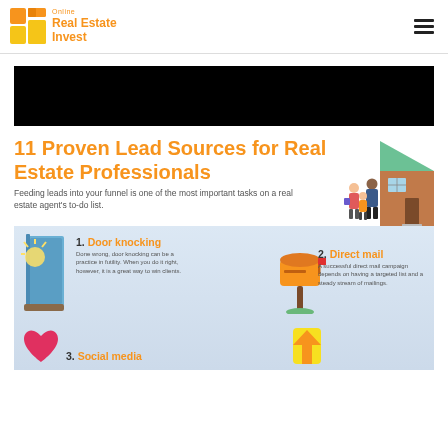[Figure (logo): Online Real Estate Invest logo with orange building icon and orange text]
[Figure (photo): Black banner image (video thumbnail area)]
[Figure (illustration): Isometric illustration of a house with a family of three people standing in front]
11 Proven Lead Sources for Real Estate Professionals
Feeding leads into your funnel is one of the most important tasks on a real estate agent's to-do list.
[Figure (infographic): Infographic showing lead sources: 1. Door knocking with door illustration, 2. Direct mail with orange mailbox illustration, 3. Social media with heart icon, 4. Yellow device/arrow icon]
1. Door knocking
Done wrong, door knocking can be a practice in futility. When you do it right, however, it is a great way to win clients.
2. Direct mail
A successful direct mail campaign depends on having a targeted list and a steady stream of mailings.
3. Social media